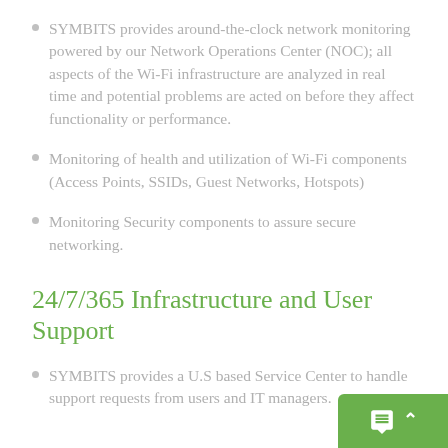SYMBITS provides around-the-clock network monitoring powered by our Network Operations Center (NOC); all aspects of the Wi-Fi infrastructure are analyzed in real time and potential problems are acted on before they affect functionality or performance.
Monitoring of health and utilization of Wi-Fi components (Access Points, SSIDs, Guest Networks, Hotspots)
Monitoring Security components to assure secure networking.
24/7/365 Infrastructure and User Support
SYMBITS provides a U.S based Service Center to handle support requests from users and IT managers.